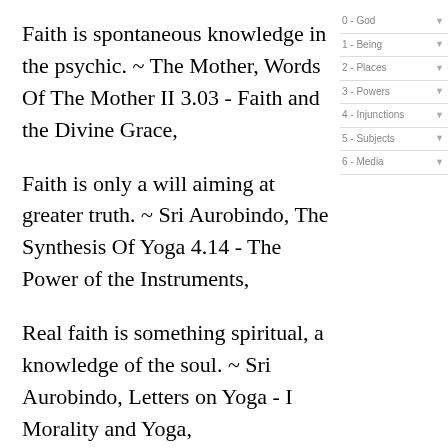Faith is spontaneous knowledge in the psychic. ~ The Mother, Words Of The Mother II 3.03 - Faith and the Divine Grace,
Faith is only a will aiming at greater truth. ~ Sri Aurobindo, The Synthesis Of Yoga 4.14 - The Power of the Instruments,
Real faith is something spiritual, a knowledge of the soul. ~ Sri Aurobindo, Letters on Yoga - I Morality and Yoga,
Faith is the surest guide in the darkest days. 16 August 1954 ~ The Mother, Words Of The Mother II 3.03 - Faith and the Divine Grace,